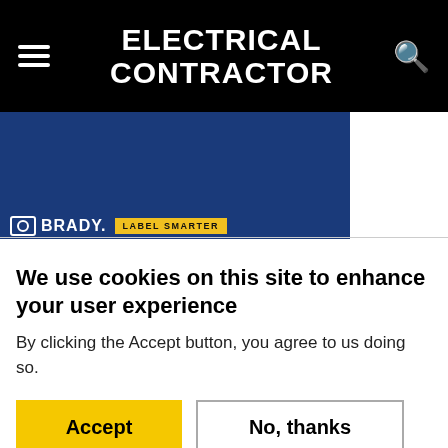ELECTRICAL CONTRACTOR
[Figure (logo): Brady Corporation advertisement banner — dark blue background with Brady logo and 'LABEL SMARTER' tagline in yellow]
We use cookies on this site to enhance your user experience
By clicking the Accept button, you agree to us doing so.
Accept | No, thanks